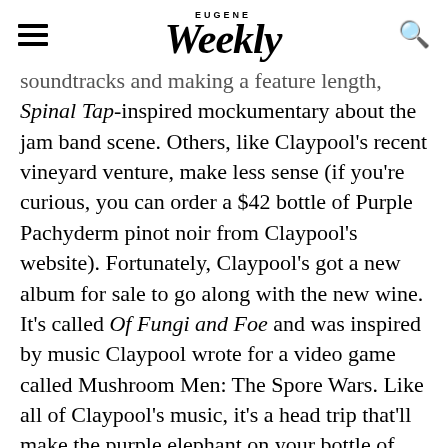Eugene Weekly
soundtracks and making a feature length, Spinal Tap-inspired mockumentary about the jam band scene. Others, like Claypool's recent vineyard venture, make less sense (if you're curious, you can order a $42 bottle of Purple Pachyderm pinot noir from Claypool's website). Fortunately, Claypool's got a new album for sale to go along with the new wine. It's called Of Fungi and Foe and was inspired by music Claypool wrote for a video game called Mushroom Men: The Spore Wars. Like all of Claypool's music, it's a head trip that'll make the purple elephant on your bottle of pinot jump right off the label. It's even better in person: Live,